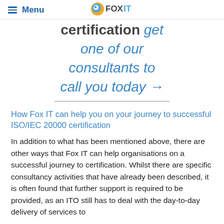≡ Menu | FOXIT
certification get one of our consultants to call you today →
How Fox IT can help you on your journey to successful ISO/IEC 20000 certification
In addition to what has been mentioned above, there are other ways that Fox IT can help organisations on a successful journey to certification. Whilst there are specific consultancy activities that have already been described, it is often found that further support is required to be provided, as an ITO still has to deal with the day-to-day delivery of services to